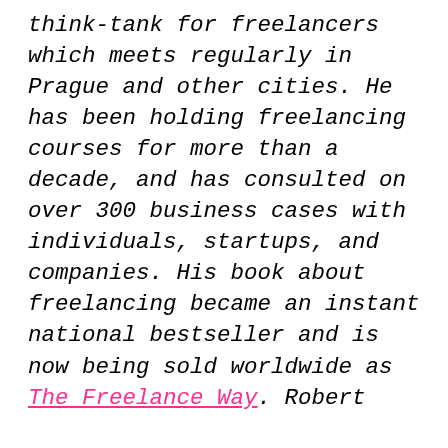think-tank for freelancers which meets regularly in Prague and other cities. He has been holding freelancing courses for more than a decade, and has consulted on over 300 business cases with individuals, startups, and companies. His book about freelancing became an instant national bestseller and is now being sold worldwide as The Freelance Way. Robert